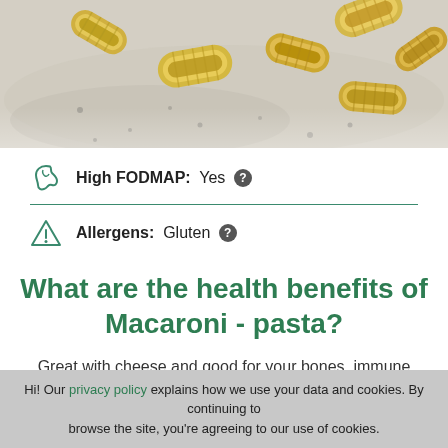[Figure (photo): Photo of uncooked rigatoni/macaroni pasta pieces scattered on a floured surface]
High FODMAP:  Yes
Allergens:  Gluten
What are the health benefits of Macaroni - pasta?
Great with cheese and good for your bones, immune system and cleansing activity
Hi! Our privacy policy explains how we use your data and cookies. By continuing to browse the site, you're agreeing to our use of cookies.